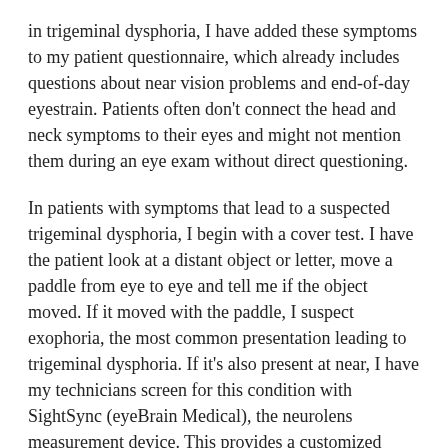in trigeminal dysphoria, I have added these symptoms to my patient questionnaire, which already includes questions about near vision problems and end-of-day eyestrain. Patients often don't connect the head and neck symptoms to their eyes and might not mention them during an eye exam without direct questioning.
In patients with symptoms that lead to a suspected trigeminal dysphoria, I begin with a cover test. I have the patient look at a distant object or letter, move a paddle from eye to eye and tell me if the object moved. If it moved with the paddle, I suspect exophoria, the most common presentation leading to trigeminal dysphoria. If it's also present at near, I have my technicians screen for this condition with SightSync (eyeBrain Medical), the neurolens measurement device. This provides a customized measurement of misalignment from 50cm to a non-accommodative distance. The device also incorporates other ocular fusion analyses, including heterophoria, vergence conditioning, fixation disparity, accommodative convergence response and alternating monocular control